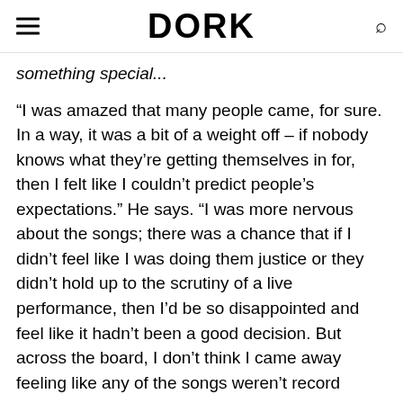DORK
something special...
“I was amazed that many people came, for sure. In a way, it was a bit of a weight off – if nobody knows what they’re getting themselves in for, then I felt like I couldn’t predict people’s expectations.” He says. “I was more nervous about the songs; there was a chance that if I didn’t feel like I was doing them justice or they didn’t hold up to the scrutiny of a live performance, then I’d be so disappointed and feel like it hadn’t been a good decision. But across the board, I don’t think I came away feeling like any of the songs weren’t record